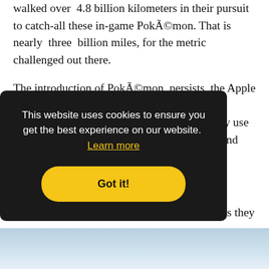walked over 4.8 billion kilometers in their pursuit to catch-all these in-game Pokémon. That is nearly three billion miles, for the metric challenged out there.
The introduction of Pokémon persists the Apple Watch. That ought to facilitate the extend engagement with players in UN agency. They use it for matching the feature set of this game and peripheral, returning later this
s they
This website uses cookies to ensure you get the best experience on our website. Learn more
Got it!
[Figure (photo): Bottom portion of a photo showing what appears to be a phone or device, partially visible at the bottom of the page]